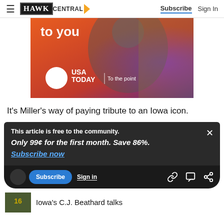HAWK CENTRAL — Subscribe | Sign In
[Figure (photo): USA Today advertisement banner with text 'to you' and 'USA TODAY | To the point' on an orange/purple gradient background with a man in the background]
It's Miller's way of paying tribute to an Iowa icon.
This article is free to the community.
Only 99¢ for the first month. Save 86%.
Subscribe now
Iowa's C.J. Beathard talks